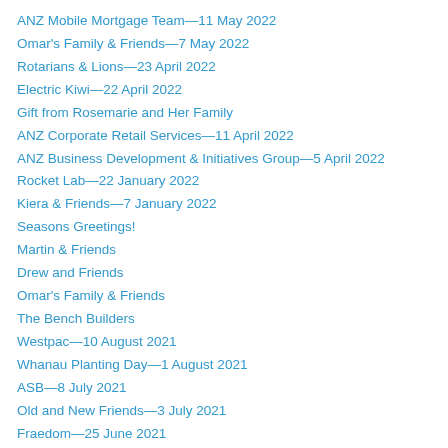ANZ Mobile Mortgage Team—11 May 2022
Omar's Family & Friends—7 May 2022
Rotarians & Lions—23 April 2022
Electric Kiwi—22 April 2022
Gift from Rosemarie and Her Family
ANZ Corporate Retail Services—11 April 2022
ANZ Business Development & Initiatives Group—5 April 2022
Rocket Lab—22 January 2022
Kiera & Friends—7 January 2022
Seasons Greetings!
Martin & Friends
Drew and Friends
Omar's Family & Friends
The Bench Builders
Westpac—10 August 2021
Whanau Planting Day—1 August 2021
ASB—8 July 2021
Old and New Friends—3 July 2021
Fraedom—25 June 2021